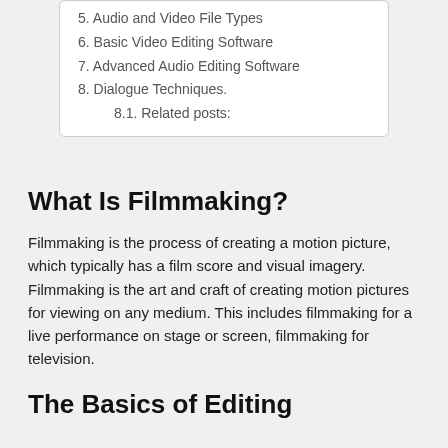5. Audio and Video File Types
6. Basic Video Editing Software
7. Advanced Audio Editing Software
8. Dialogue Techniques.
8.1. Related posts:
What Is Filmmaking?
Filmmaking is the process of creating a motion picture, which typically has a film score and visual imagery. Filmmaking is the art and craft of creating motion pictures for viewing on any medium. This includes filmmaking for a live performance on stage or screen, filmmaking for television.
The Basics of Editing